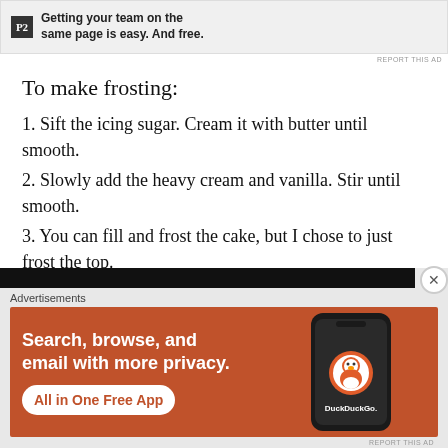[Figure (screenshot): Top advertisement banner for P2 product with text 'Getting your team on the same page is easy. And free.' with a 'REPORT THIS AD' label]
To make frosting:
1. Sift the icing sugar. Cream it with butter until smooth.
2. Slowly add the heavy cream and vanilla. Stir until smooth.
3. You can fill and frost the cake, but I chose to just frost the top.
4. Decorate as you wish and serve.
[Figure (screenshot): Bottom advertisement banner for DuckDuckGo with text 'Search, browse, and email with more privacy. All in One Free App' on orange background with phone graphic]